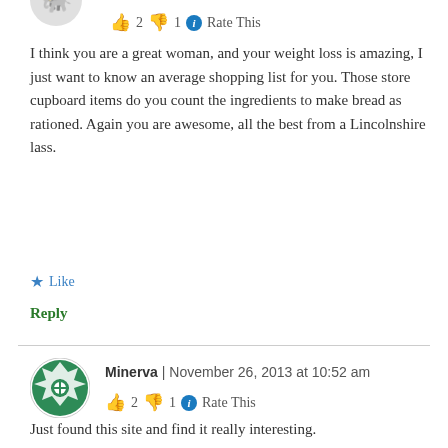👍 2 👎 1 ℹ Rate This
I think you are a great woman, and your weight loss is amazing, I just want to know an average shopping list for you. Those store cupboard items do you count the ingredients to make bread as rationed. Again you are awesome, all the best from a Lincolnshire lass.
★ Like
Reply
Minerva | November 26, 2013 at 10:52 am
👍 2 👎 1 ℹ Rate This
Just found this site and find it really interesting.
I have been eating 'proper' food – cooked fresh, from scratch, for several years now. "Never put anything in your mouth that your grandmother wouldn't